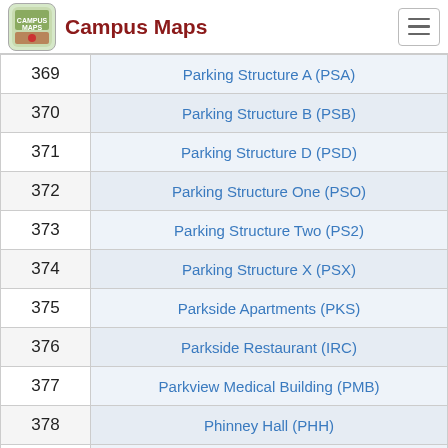Campus Maps
| # | Name |
| --- | --- |
| 369 | Parking Structure A (PSA) |
| 370 | Parking Structure B (PSB) |
| 371 | Parking Structure D (PSD) |
| 372 | Parking Structure One (PSO) |
| 373 | Parking Structure Two (PS2) |
| 374 | Parking Structure X (PSX) |
| 375 | Parkside Apartments (PKS) |
| 376 | Parkside Restaurant (IRC) |
| 377 | Parkview Medical Building (PMB) |
| 378 | Phinney Hall (PHH) |
| 379 | Physical Education Building (PED) |